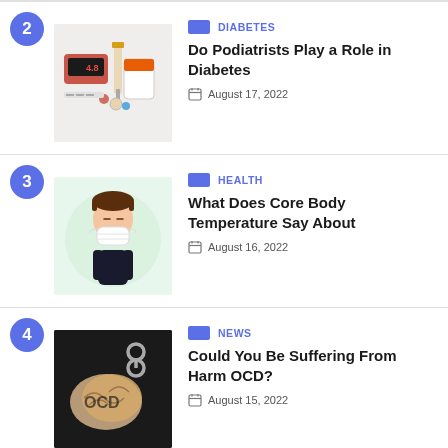2
[Figure (photo): Diabetes medical supplies including glucose meter, insulin syringe, and medication bottles]
DIABETES
Do Podiatrists Play a Role in Diabetes
August 17, 2022
3
[Figure (illustration): Cartoon illustration of a person wearing a face mask]
HEALTH
What Does Core Body Temperature Say About
August 16, 2022
4
[Figure (photo): Brain with OCD text and chains in dark setting]
NEWS
Could You Be Suffering From Harm OCD?
August 15, 2022